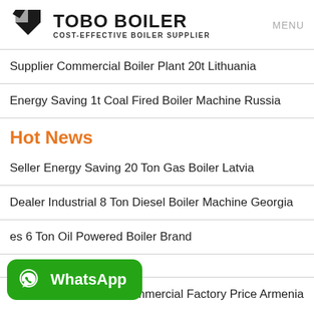[Figure (logo): TOBO BOILER logo with geometric icon and tagline COST-EFFECTIVE BOILER SUPPLIER]
Supplier Commercial Boiler Plant 20t Lithuania
Energy Saving 1t Coal Fired Boiler Machine Russia
Hot News
Seller Energy Saving 20 Ton Gas Boiler Latvia
Dealer Industrial 8 Ton Diesel Boiler Machine Georgia
[Figure (logo): WhatsApp button overlay]
es 6 Ton Oil Powered Boiler Brand
4t Gas Steam Boiler Commercial Factory Price Armenia